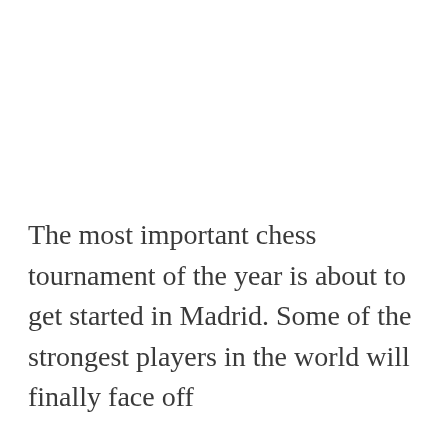The most important chess tournament of the year is about to get started in Madrid. Some of the strongest players in the world will finally face off